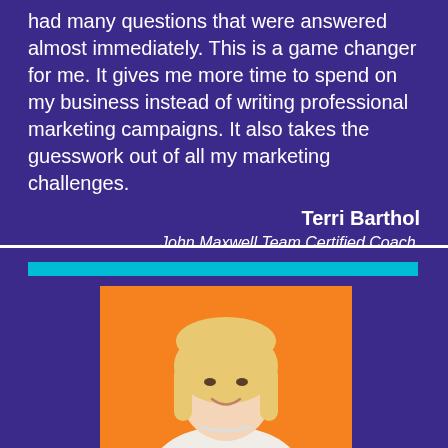had many questions that were answered almost immediately. This is a game changer for me. It gives me more time to spend on my business instead of writing professional marketing campaigns. It also takes the guesswork out of all my marketing challenges.
Terri Barthol
John Maxwell Team Certified Coach, Speaker and Trainer
[Figure (photo): Professional headshot of a woman with blonde hair smiling, on an orange background, in the lower purple section of the page with a cyan accent bar above]